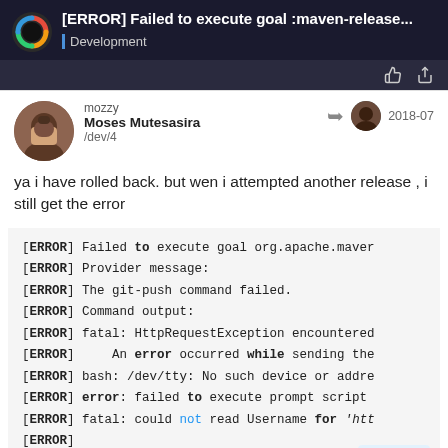[ERROR] Failed to execute goal :maven-release... Development
mozzy Moses Mutesasira /dev/4 2018-07
ya i have rolled back. but wen i attempted another release , i still get the error
[ERROR] Failed to execute goal org.apache.maven
[ERROR] Provider message:
[ERROR] The git-push command failed.
[ERROR] Command output:
[ERROR] fatal: HttpRequestException encountered
[ERROR]     An error occurred while sending the
[ERROR] bash: /dev/tty: No such device or addre
[ERROR] error: failed to execute prompt script
[ERROR] fatal: could not read Username for 'htt
[ERROR]
[ERROR] -> [Help 1]
13 / 42